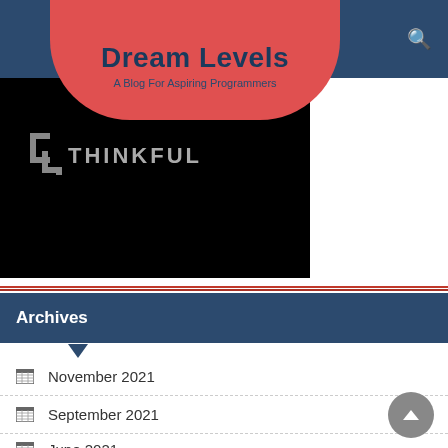Dream Levels — A Blog For Aspiring Programmers
[Figure (logo): Thinkful logo on black background — white/gray bracket icon with text THINKFUL]
Archives
November 2021
September 2021
June 2021